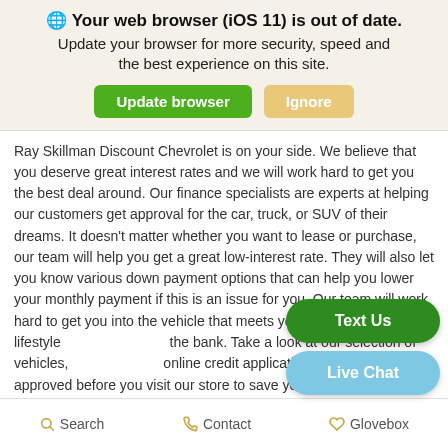🌐 Your web browser (iOS 11) is out of date. Update your browser for more security, speed and the best experience on this site.
Ray Skillman Discount Chevrolet is on your side. We believe that you deserve great interest rates and we will work hard to get you the best deal around. Our finance specialists are experts at helping our customers get approval for the car, truck, or SUV of their dreams. It doesn't matter whether you want to lease or purchase, our team will help you get a great low-interest rate. They will also let you know various down payment options that can help you lower your monthly payment if this is an issue for you. Our team will work hard to get you into the vehicle that meets your lifestyle and doesn't break the bank. Take a look at our selection of vehicles, and fill out our online credit application to get pre-approved before you visit our store to save you time. We are here to answer all your questions by phone, online, or in person today.
Search   Contact   Glovebox